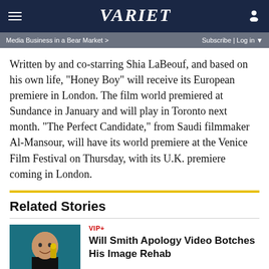VARIETY
Media Business in a Bear Market > | Subscribe | Log in
Written by and co-starring Shia LaBeouf, and based on his own life, “Honey Boy” will receive its European premiere in London. The film world premiered at Sundance in January and will play in Toronto next month. “The Perfect Candidate,” from Saudi filmmaker Al-Mansour, will have its world premiere at the Venice Film Festival on Thursday, with its U.K. premiere coming in London.
Related Stories
[Figure (photo): Photo of Will Smith holding an award, smiling]
VIP+
Will Smith Apology Video Botches His Image Rehab
[Figure (photo): Photo of Ana de Armas]
Ana de Armas Confused by ‘Blonde’